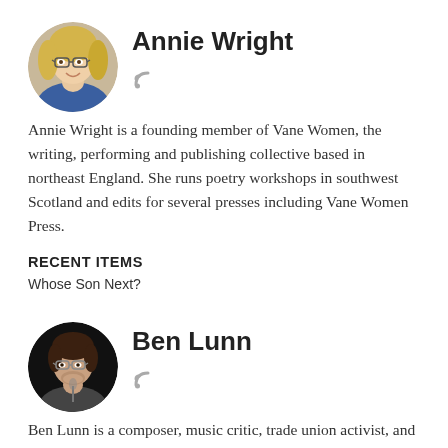[Figure (photo): Circular avatar photo of Annie Wright, a woman with blonde hair and glasses]
Annie Wright
Annie Wright is a founding member of Vane Women, the writing, performing and publishing collective based in northeast England. She runs poetry workshops in southwest Scotland and edits for several presses including Vane Women Press.
RECENT ITEMS
Whose Son Next?
[Figure (photo): Circular avatar photo of Ben Lunn, a man with glasses speaking at a microphone on a dark stage]
Ben Lunn
Ben Lunn is a composer, music critic, trade union activist, and helped found the Disabled Artist Network, an organisation which is bridging the gap between the professional world and disabled artists. He also has a monthly column in The Morning